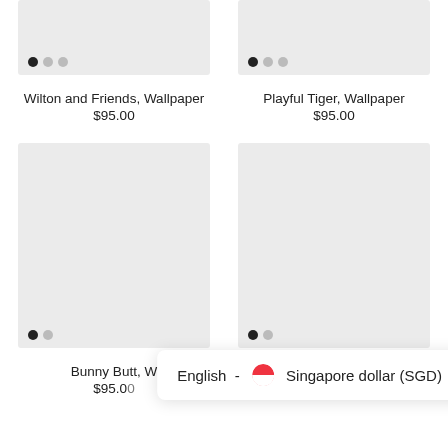[Figure (photo): Top-left product image placeholder (light gray background) with carousel dots]
[Figure (photo): Top-right product image placeholder (light gray background) with carousel dots]
Wilton and Friends, Wallpaper
$95.00
Playful Tiger, Wallpaper
$95.00
[Figure (photo): Bottom-left product image placeholder (light gray, tall) with carousel dots]
[Figure (photo): Bottom-right product image placeholder (light gray, tall) with carousel dots]
Bunny Butt, W[allpaper]
$95.0[0]
[W]allpaper
$95.[00]
English - 🇸🇬 Singapore dollar (SGD) ∨